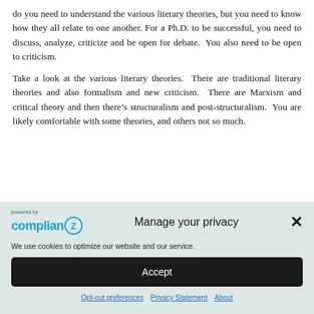do you need to understand the various literary theories, but you need to know how they all relate to one another. For a Ph.D. to be successful, you need to discuss, analyze, criticize and be open for debate. You also need to be open to criticism.
Take a look at the various literary theories. There are traditional literary theories and also formalism and new criticism. There are Marxism and critical theory and then there’s structuralism and post-structuralism. You are likely comfortable with some theories, and others not so much.
[Figure (screenshot): Cookie consent banner with Complian-Z logo, 'Manage your privacy' title, close button, cookie description text, Accept button, and links for Opt-out preferences, Privacy Statement, and About.]